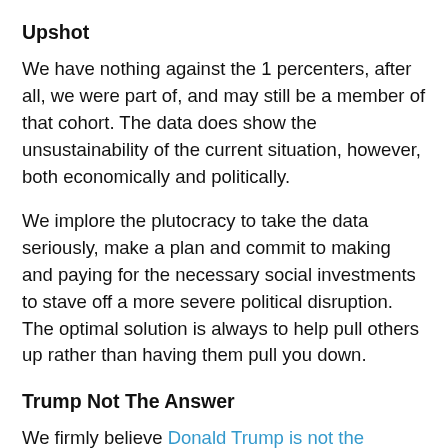Upshot
We have nothing against the 1 percenters, after all, we were part of, and may still be a member of that cohort. The data does show the unsustainability of the current situation, however, both economically and politically.
We implore the plutocracy to take the data seriously, make a plan and commit to making and paying for the necessary social investments to stave off a more severe political disruption.  The optimal solution is always to help pull others up rather than having them pull you down.
Trump Not The Answer
We firmly believe Donald Trump is not the answer and is just a warm-up act to the real deal that may be yet to come.  We have looked at the economic data under the